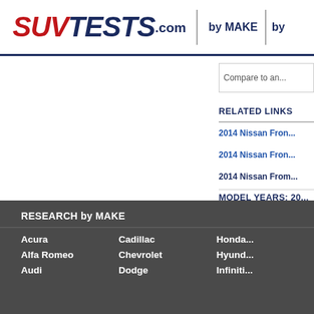[Figure (logo): SUVTests.com logo with red italic SUV and dark blue TESTS.com text]
by MAKE | by
Compare to an...
RELATED LINKS
2014 Nissan Fron...
2014 Nissan Fron...
2014 Nissan From...
MODEL YEARS: 20...
Nissan Frontier
Nissan Rogue
RESEARCH by MAKE
Acura
Cadillac
Honda...
Alfa Romeo
Chevrolet
Hyund...
Audi
Dodge
Infiniti...